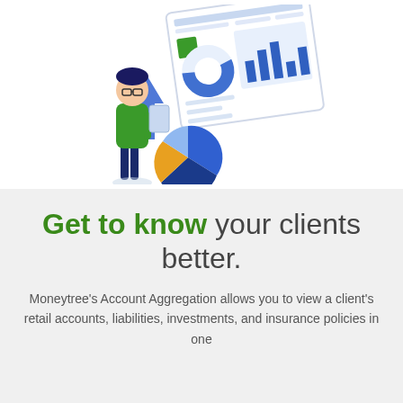[Figure (illustration): Illustration of a person in green shirt holding a tablet, standing next to a large dashboard displaying charts, bar graphs, a pie chart, and a donut chart. The dashboard shows analytics data visualization.]
Get to know your clients better.
Moneytree's Account Aggregation allows you to view a client's retail accounts, liabilities, investments, and insurance policies in one